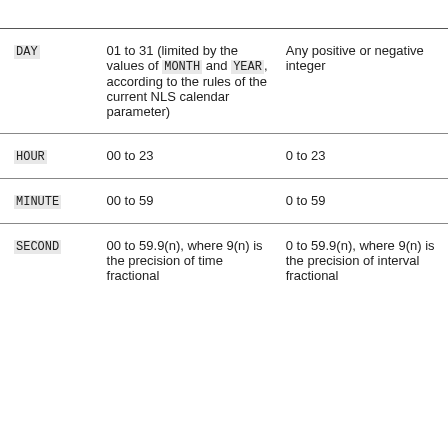|  | Valid input range | Valid output range |
| --- | --- | --- |
| DAY | 01 to 31 (limited by the values of MONTH and YEAR, according to the rules of the current NLS calendar parameter) | Any positive or negative integer |
| HOUR | 00 to 23 | 0 to 23 |
| MINUTE | 00 to 59 | 0 to 59 |
| SECOND | 00 to 59.9(n), where 9(n) is the precision of time fractional seconds. The... | 0 to 59.9(n), where 9(n) is the precision of interval fractional seconds. |